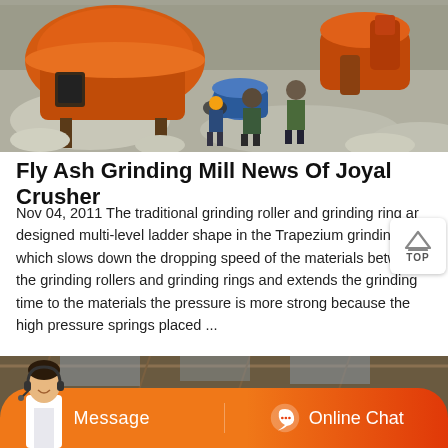[Figure (photo): Aerial view of orange industrial grinding mill machinery with workers in hard hats standing on rocky ground]
Fly Ash Grinding Mill News Of Joyal Crusher
Nov 04, 2011 The traditional grinding roller and grinding ring are designed multi-level ladder shape in the Trapezium grinding mill, which slows down the dropping speed of the materials between the grinding rollers and grinding rings and extends the grinding time to the materials the pressure is more strong because the high pressure springs placed ...
[Figure (photo): Industrial warehouse interior with high ceiling, partially visible, with orange Message and Online Chat bar overlay and customer service agent figure]